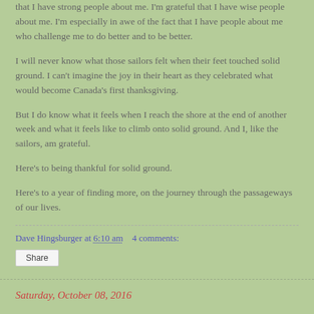that I have strong people about me. I'm grateful that I have wise people about me. I'm especially in awe of the fact that I have people about me who challenge me to do better and to be better.
I will never know what those sailors felt when their feet touched solid ground. I can't imagine the joy in their heart as they celebrated what would become Canada's first thanksgiving.
But I do know what it feels when I reach the shore at the end of another week and what it feels like to climb onto solid ground. And I, like the sailors, am grateful.
Here's to being thankful for solid ground.
Here's to a year of finding more, on the journey through the passageways of our lives.
Dave Hingsburger at 6:10 am    4 comments:
Share
Saturday, October 08, 2016